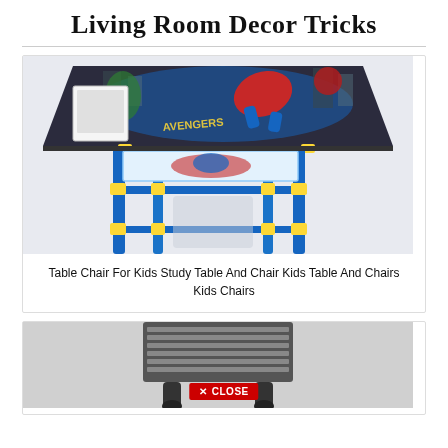Living Room Decor Tricks
[Figure (photo): Kids study table and chair set with Spiderman/Avengers themed desk surface, blue metal frame with yellow accents, shown at an angle]
Table Chair For Kids Study Table And Chair Kids Table And Chairs Kids Chairs
[Figure (photo): Bottom portion of a dark chair with a red CLOSE button overlay visible at bottom center]